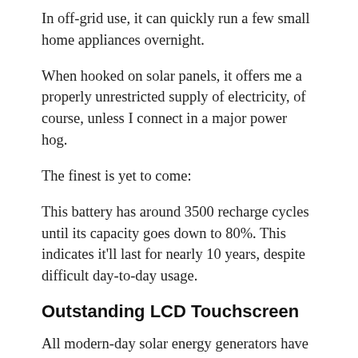In off-grid use, it can quickly run a few small home appliances overnight.
When hooked on solar panels, it offers me a properly unrestricted supply of electricity, of course, unless I connect in a major power hog.
The finest is yet to come:
This battery has around 3500 recharge cycles until its capacity goes down to 80%. This indicates it'll last for nearly 10 years, despite difficult day-to-day usage.
Outstanding LCD Touchscreen
All modern-day solar energy generators have an LCD show of some type, however the Bluetti